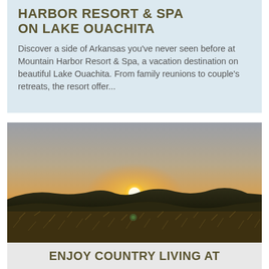HARBOR RESORT & SPA ON LAKE OUACHITA
Discover a side of Arkansas you've never seen before at Mountain Harbor Resort & Spa, a vacation destination on beautiful Lake Ouachita. From family reunions to couple's retreats, the resort offer…
[Figure (photo): Sunset landscape photo over rolling hills with dry golden grass in the foreground and a bright setting sun on the horizon under a warm orange and gray sky]
ENJOY COUNTRY LIVING AT